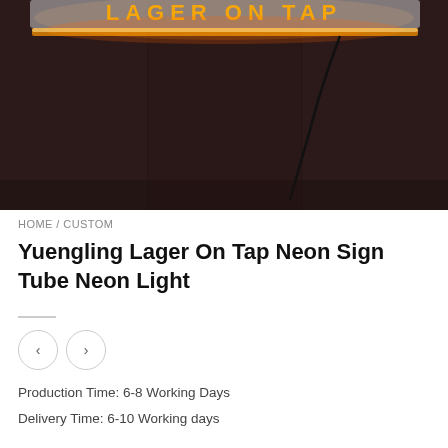[Figure (photo): Photo of a neon sign reading 'LAGER ON TAP' glowing in orange/yellow neon tubes mounted on a dark brown wooden wall with a black cord hanging down.]
HOME / CUSTOM
Yuengling Lager On Tap Neon Sign Tube Neon Light
Production Time: 6-8 Working Days
Delivery Time: 6-10 Working days